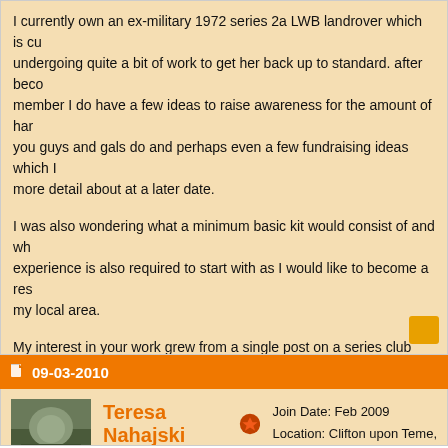I currently own an ex-military 1972 series 2a LWB landrover which is currently undergoing quite a bit of work to get her back up to standard. after becoming a member I do have a few ideas to raise awareness for the amount of hard work you guys and gals do and perhaps even a few fundraising ideas which I go into more detail about at a later date.
I was also wondering what a minimum basic kit would consist of and what experience is also required to start with as I would like to become a responder in my local area.
My interest in your work grew from a single post on a series club forum and had some great replies from existing members and some which will hopefully join the 4X4response team I'm not entirely sure on the rules when it comes to posting external links so i'll post a link later if it's permitted some here may already know the post in question.
Can't wait to get to know you all better and thank you for all the hard work you all do.
Joe
09-03-2010
Teresa Nahajski
Website User
Forum Handle: Teresa Herefordshire
Join Date: Feb 2009
Location: Clifton upon Teme,
Posts: 669